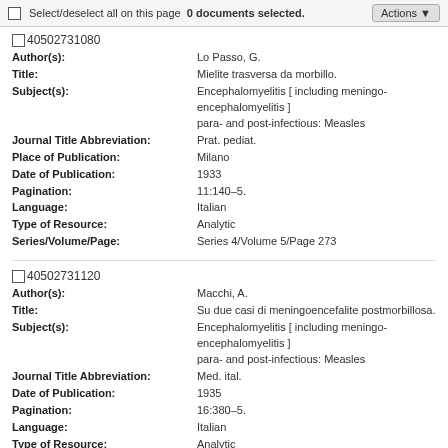Select/deselect all on this page  0 documents selected.  Actions
40502731080
Author(s): Lo Passo, G.
Title: Mielite trasversa da morbillo.
Subject(s): Encephalomyelitis [ including meningo-encephalomyelitis ] para- and post-infectious: Measles
Journal Title Abbreviation: Prat. pediat.
Place of Publication: Milano
Date of Publication: 1933
Pagination: 11:140-5.
Language: Italian
Type of Resource: Analytic
Series/Volume/Page: Series 4/Volume 5/Page 273
40502731120
Author(s): Macchi, A.
Title: Su due casi di meningoencefalite postmorbillosa.
Subject(s): Encephalomyelitis [ including meningo-encephalomyelitis ] para- and post-infectious: Measles
Journal Title Abbreviation: Med. ital.
Date of Publication: 1935
Pagination: 16:380-5.
Language: Italian
Type of Resource: Analytic
Series/Volume/Page: Series 4/Volume 5/Page 273
40502731170
Author(s): Mensi, E.
Title: L'evoluzione clinica dell'encefalite morbillosa.